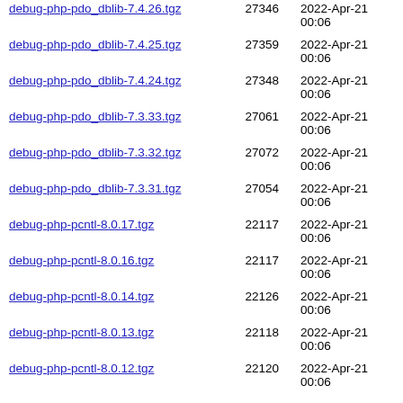debug-php-pdo_dblib-7.4.26.tgz  27346  2022-Apr-21 00:06
debug-php-pdo_dblib-7.4.25.tgz  27359  2022-Apr-21 00:06
debug-php-pdo_dblib-7.4.24.tgz  27348  2022-Apr-21 00:06
debug-php-pdo_dblib-7.3.33.tgz  27061  2022-Apr-21 00:06
debug-php-pdo_dblib-7.3.32.tgz  27072  2022-Apr-21 00:06
debug-php-pdo_dblib-7.3.31.tgz  27054  2022-Apr-21 00:06
debug-php-pcntl-8.0.17.tgz  22117  2022-Apr-21 00:06
debug-php-pcntl-8.0.16.tgz  22117  2022-Apr-21 00:06
debug-php-pcntl-8.0.14.tgz  22126  2022-Apr-21 00:06
debug-php-pcntl-8.0.13.tgz  22118  2022-Apr-21 00:06
debug-php-pcntl-8.0.12.tgz  22120  2022-Apr-21 00:06